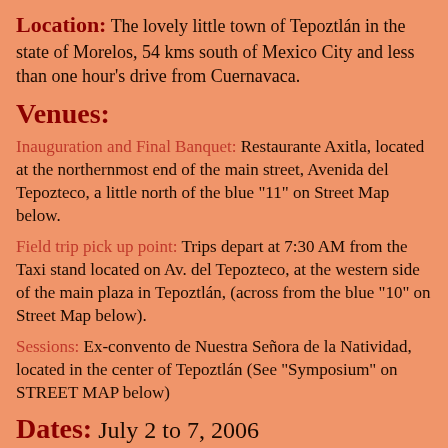Location: The lovely little town of Tepoztlán in the state of Morelos, 54 kms south of Mexico City and less than one hour's drive from Cuernavaca.
Venues:
Inauguration and Final Banquet: Restaurante Axitla, located at the northernmost end of the main street, Avenida del Tepozteco, a little north of the blue "11" on Street Map below.
Field trip pick up point: Trips depart at 7:30 AM from the Taxi stand located on Av. del Tepozteco, at the western side of the main plaza in Tepoztlán, (across from the blue "10" on Street Map below).
Sessions: Ex-convento de Nuestra Señora de la Natividad, located in the center of Tepoztlán (See "Symposium" on STREET MAP below)
Dates: July 2 to 7, 2006
Registration Fee: (includes 3 field trips,